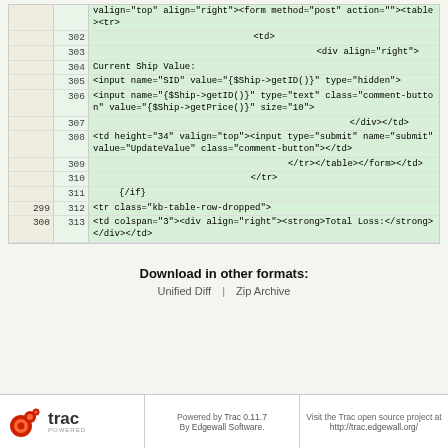|  | line | code |
| --- | --- | --- |
|  | 302 | <td> |
|  | 303 | <div align="right"> |
|  | 304 | Current Ship Value: |
|  | 305 | <input name="SID" value="{$Ship->getID()}" type="hidden"> |
|  | 306 | <input name="{$Ship->getID()}" type="text" class="comment-button" value="{$Ship->getPrice()}" size="10"> |
|  | 307 | </div></td> |
|  | 308 | <td height="34" valign="top"><input type="submit" name="submit" value="UpdateValue" class="comment-button"></td> |
|  | 309 | </tr></table></form></td> |
|  | 310 | </tr> |
|  | 311 | {/if} |
| 299 | 312 | <tr class="kb-table-row-dropped"> |
| 300 | 313 | <td colspan="3"><div align="right"><strong>Total Loss:</strong></div></td> |
Download in other formats:
Unified Diff | Zip Archive
Powered by Trac 0.11.7 By Edgewall Software. Visit the Trac open source project at http://trac.edgewall.org/